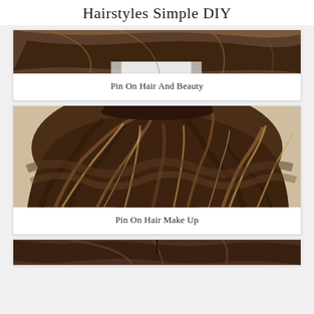Hairstyles Simple DIY
[Figure (photo): Partial view of brown hair from above, top of head with dark brown wavy hair]
Pin On Hair And Beauty
[Figure (photo): Back view of medium-length wavy brown hair with balayage highlights, warm caramel tones]
Pin On Hair Make Up
[Figure (photo): Partial top view of dark brown straight hair, bottom portion of image]